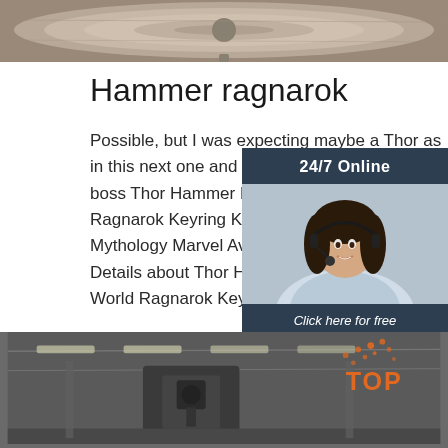[Figure (photo): Close-up photo of a metallic circular surface, possibly a hammer or mechanical part, shown at top of page]
Hammer ragnarok
Possible, but I was expecting maybe a Thor as in this next one and a 3rd entry with odin being boss Thor Hammer Keychain Mjolnir 1:1 Dark Ragnarok Keyring Key Chain Ring Viking Odin Mythology Marvel Avenger Wholesale, Find Complete Details about Thor Hammer Keychain Mjolnir 1:1 World Ragnarok Keyring Key ...
[Figure (photo): Customer service representative with headset smiling, shown in a dark blue chat widget with '24/7 Online' header and 'Click here for free chat!' text and QUOTATION button]
Get Price
[Figure (photo): Industrial workshop interior with machinery and overhead lighting, shown at bottom of page, with 'TOP' logo overlay in orange with dots]